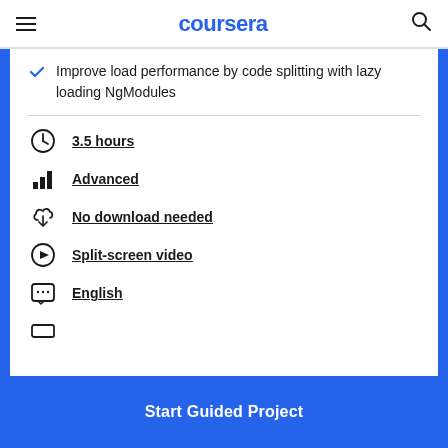coursera
Improve load performance by code splitting with lazy loading NgModules
3.5 hours
Advanced
No download needed
Split-screen video
English
Start Guided Project